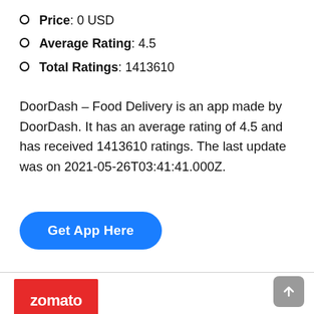Price: 0 USD
Average Rating: 4.5
Total Ratings: 1413610
DoorDash – Food Delivery is an app made by DoorDash. It has an average rating of 4.5 and has received 1413610 ratings. The last update was on 2021-05-26T03:41:41.000Z.
Get App Here
[Figure (logo): Zomato logo on red background with SAFE badge shield icon]